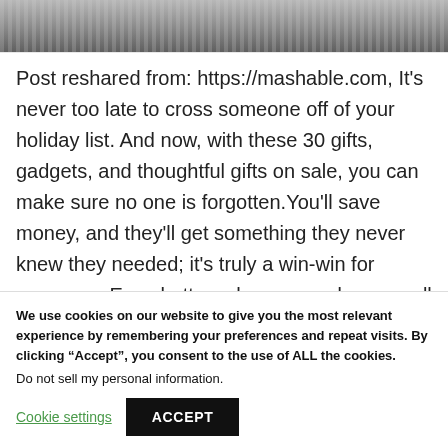[Figure (photo): Partial view of a keyboard and electronic device on a desk, cropped at the top of the page]
Post reshared from: https://mashable.com, It's never too late to cross someone off of your holiday list. And now, with these 30 gifts, gadgets, and thoughtful gifts on sale, you can make sure no one is forgotten.You'll save money, and they'll get something they never knew they needed; it's truly a win-win for everyone. Even better, when you order now, all
We use cookies on our website to give you the most relevant experience by remembering your preferences and repeat visits. By clicking “Accept”, you consent to the use of ALL the cookies.
Do not sell my personal information.
Cookie settings
ACCEPT